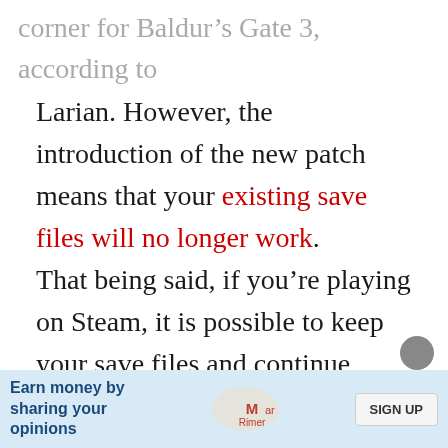corner for Baldur's Gate 3, according to Larian. However, the introduction of the new patch means that your existing save files will no longer work.
That being said, if you're playing on Steam, it is possible to keep your save files and continue playing on the old build. You'll need to mess around with the game options and properties through Steam to keep the old build, and once you're ready to move on, you can switch branches to the new build and start… ava…
[Figure (other): Advertisement overlay: 'Earn money by sharing your opinions' with a logo and a SIGN UP button]